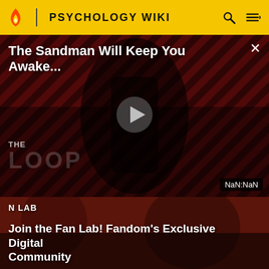PSYCHOLOGY WIKI
[Figure (screenshot): Video player showing The Sandman promotional content with a dark-clad figure against a red striped background, with a play button overlay and 'THE LOOP' watermark. Title reads 'The Sandman Will Keep You Awake...' with NaN:NaN time display.]
[Figure (photo): Fan Lab promotional banner showing two people (woman with braids and man) against a dark reddish background with 'N LAB' text overlay.]
Join the Fan Lab! Fandom's Exclusive Digital Community